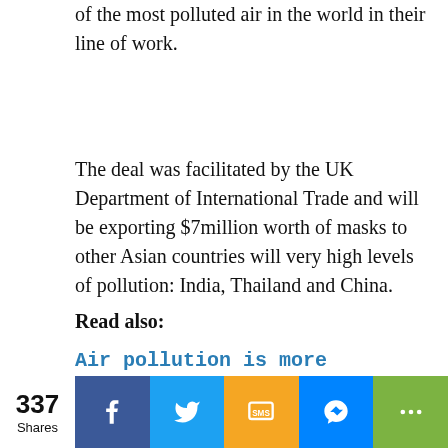of the most polluted air in the world in their line of work.
The deal was facilitated by the UK Department of International Trade and will be exporting $7million worth of masks to other Asian countries will very high levels of pollution: India, Thailand and China.
Read also:
Air pollution is more dangerous than smoking, Sonia Awale
Advertisement
337 Shares